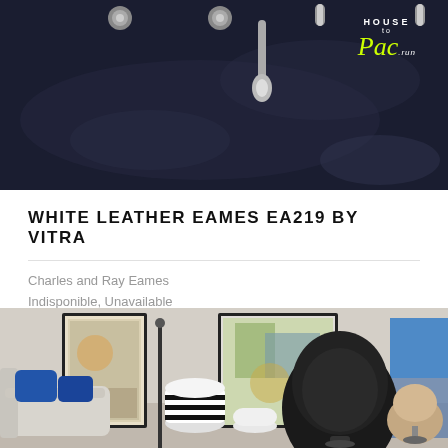[Figure (photo): Dark navy/black ceiling or fabric surface with metallic hardware fixtures and a logo overlay reading HOUSE Pac.run]
WHITE LEATHER EAMES EA219 BY VITRA
Charles and Ray Eames
Indisponible, Unavailable
[Figure (photo): Interior living room scene with a black egg chair as centerpiece, a tan swivel chair, sofa with blue cushions, striped cylindrical side table, and framed artwork on walls]